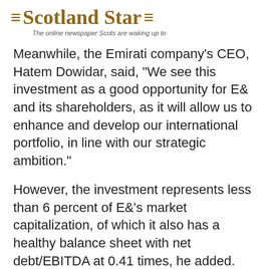Scotland Star — The online newspaper Scots are waking up to
Meanwhile, the Emirati company's CEO, Hatem Dowidar, said, "We see this investment as a good opportunity for E& and its shareholders, as it will allow us to enhance and develop our international portfolio, in line with our strategic ambition."
However, the investment represents less than 6 percent of E&'s market capitalization, of which it also has a healthy balance sheet with net debt/EBITDA at 0.41 times, he added.
Share article:
[Figure (other): Social share buttons: Facebook Share, Twitter, Reddit, Flipboard, Email]